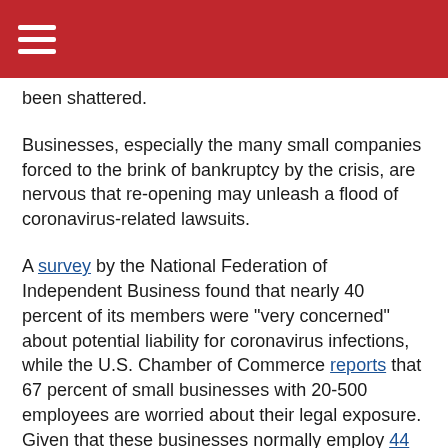≡
been shattered.
Businesses, especially the many small companies forced to the brink of bankruptcy by the crisis, are nervous that re-opening may unleash a flood of coronavirus-related lawsuits.
A survey by the National Federation of Independent Business found that nearly 40 percent of its members were "very concerned" about potential liability for coronavirus infections, while the U.S. Chamber of Commerce reports that 67 percent of small businesses with 20-500 employees are worried about their legal exposure. Given that these businesses normally employ 44 million workers, a significant portion of the U.S. labor force may be impacted by business decisions driven by fears of lawsuits.